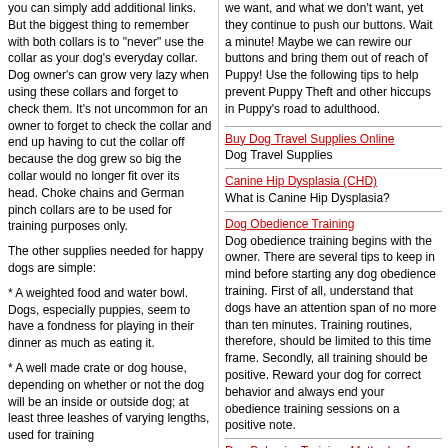you can simply add additional links. But the biggest thing to remember with both collars is to "never" use the collar as your dog's everyday collar. Dog owner's can grow very lazy when using these collars and forget to check them. It's not uncommon for an owner to forget to check the collar and end up having to cut the collar off because the dog grew so big the collar would no longer fit over its head. Choke chains and German pinch collars are to be used for training purposes only.
The other supplies needed for happy dogs are simple:
* A weighted food and water bowl. Dogs, especially puppies, seem to have a fondness for playing in their dinner as much as eating it.
* A well made crate or dog house, depending on whether or not the dog will be an inside or outside dog; at least three leashes of varying lengths, used for training
we want, and what we don't want, yet they continue to push our buttons. Wait a minute! Maybe we can rewire our buttons and bring them out of reach of Puppy! Use the following tips to help prevent Puppy Theft and other hiccups in Puppy's road to adulthood.
Buy Dog Travel Supplies Online
Dog Travel Supplies
Canine Hip Dysplasia (CHD)
What is Canine Hip Dysplasia?
Dog Obedience Training
Dog obedience training begins with the owner. There are several tips to keep in mind before starting any dog obedience training. First of all, understand that dogs have an attention span of no more than ten minutes. Training routines, therefore, should be limited to this time frame. Secondly, all training should be positive. Reward your dog for correct behavior and always end your obedience training sessions on a positive note.
Dog Behavior Training: Methods of Working with a Shy Dog
Shy dogs are more common than most people think, but unfortunately many dogs who suffer from this affliction are never seen by the general public because of their impairment. Shy dogs range from those who scurry away when someone walks by, to those who bite when approached. No matter how vehement their behavior, however, there are ways of not only managing it, but solving the problem.
Too Many Cats?